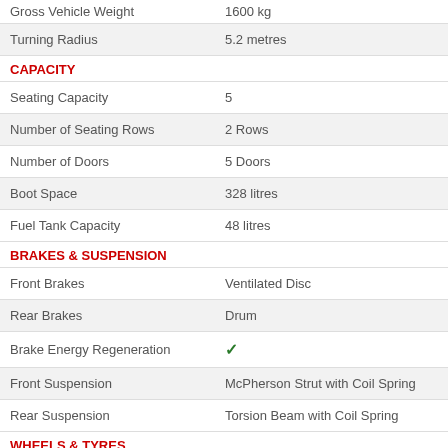| Specification | Value |
| --- | --- |
| Gross Vehicle Weight | 1600 kg |
| Turning Radius | 5.2 metres |
| CAPACITY |  |
| Seating Capacity | 5 |
| Number of Seating Rows | 2 Rows |
| Number of Doors | 5 Doors |
| Boot Space | 328 litres |
| Fuel Tank Capacity | 48 litres |
| BRAKES & SUSPENSION |  |
| Front Brakes | Ventilated Disc |
| Rear Brakes | Drum |
| Brake Energy Regeneration | ✓ |
| Front Suspension | McPherson Strut with Coil Spring |
| Rear Suspension | Torsion Beam with Coil Spring |
| WHEELS & TYRES |  |
| Front Tyre | 215/60-R16 |